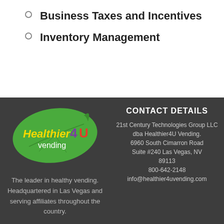Business Taxes and Incentives
Inventory Management
[Figure (logo): Healthier 4U Vending logo — a green leaf shape with the text 'Healthier 4U vending' inside]
The leader in healthy vending. Headquartered in Las Vegas and serving affiliates throughout the country.
CONTACT DETAILS
21st Century Technologies Group LLC dba Healthier4U Vending. 6960 South Cimarron Road Suite #240 Las Vegas, NV 89113 800-642-2148 info@healthier4uvending.com